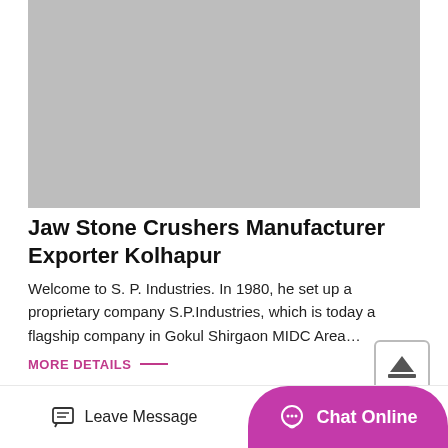[Figure (photo): Gray placeholder image at the top of the page representing a product or company image]
Jaw Stone Crushers Manufacturer Exporter Kolhapur
Welcome to S. P. Industries. In 1980, he set up a proprietary company S.P.Industries, which is today a flagship company in Gokul Shirgaon MIDC Area…
MORE DETAILS —
Leave Message   Chat Online